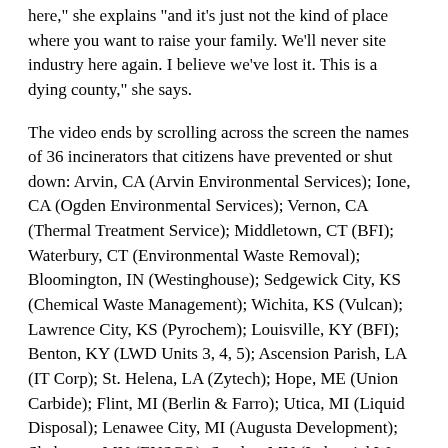here," she explains "and it's just not the kind of place where you want to raise your family. We'll never site industry here again. I believe we've lost it. This is a dying county," she says.
The video ends by scrolling across the screen the names of 36 incinerators that citizens have prevented or shut down: Arvin, CA (Arvin Environmental Services); Ione, CA (Ogden Environmental Services); Vernon, CA (Thermal Treatment Service); Middletown, CT (BFI); Waterbury, CT (Environmental Waste Removal); Bloomington, IN (Westinghouse); Sedgewick City, KS (Chemical Waste Management); Wichita, KS (Vulcan); Lawrence City, KS (Pyrochem); Louisville, KY (BFI); Benton, KY (LWD Units 3, 4, 5); Ascension Parish, LA (IT Corp); St. Helena, LA (Zytech); Hope, ME (Union Carbide); Flint, MI (Berlin & Farro); Utica, MI (Liquid Disposal); Lenawee City, MI (Augusta Development); Shakopee, MN (ENSCO); Staples, MN (Industrial Waste Conversion); Winona, MS (ITD); Columbia, MS (State Incinerator); Oswego, NY (Pollution Abatement Service); Rockport, MO (Waste Tech); Castleton, NV (Disposal Control Services); East Liverpool, OH (Chemical Waste Management); Cincinnati, OH (City Incinerator); Reading, OH (Pristine, Inc.); Boise City, OK (Orlandis Corp.); Hughes County, OK (Royster Waste Recovery); Yukon, PA (Mill Services, Inc.); Apollo, PA (Babcock & Wilcox); Rockhill, SD (Thermal Chem); Laporte, TX (Houston Chemical Services); Iron County, UT (Rollins Environmental Services); Clover, UT (Co-It-Inc Incinerator);